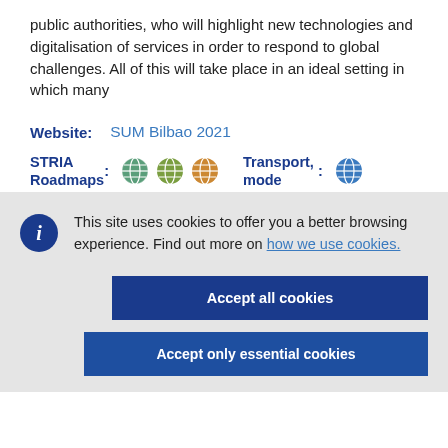public authorities, who will highlight new technologies and digitalisation of services in order to respond to global challenges. All of this will take place in an ideal setting in which many
Website: SUM Bilbao 2021
STRIA Roadmaps: [icons] Transport mode: [icon]
This site uses cookies to offer you a better browsing experience. Find out more on how we use cookies.
Accept all cookies
Accept only essential cookies